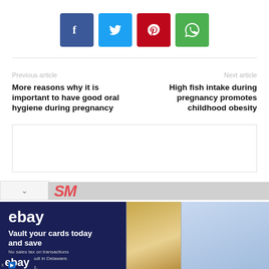[Figure (other): Social share buttons: Facebook (blue), Twitter (light blue), Pinterest (red), WhatsApp (green)]
Previous article
Next article
More reasons why it is important to have good oral hygiene during pregnancy
High fish intake during pregnancy promotes childhood obesity
[Figure (other): eBay advertisement banner: 'Vault your cards today and save' with sports cards imagery]